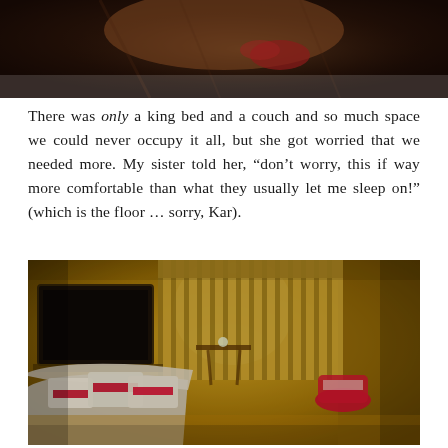[Figure (photo): Top portion of a dark hotel room photo, showing a bed with rumpled covers from above, with warm brown/orange tones]
There was only a king bed and a couch and so much space we could never occupy it all, but she got worried that we needed more. My sister told her, “don’t worry, this if way more comfortable than what they usually let me sleep on!” (which is the floor … sorry, Kar).
[Figure (photo): Hotel room interior with warm golden-yellow lighting, showing a couch with red and white pillows in the foreground, a large flat-screen TV on the left wall, floor-length curtains covering the window, and a small table with chairs in the background. Two red chairs are visible near the right side.]